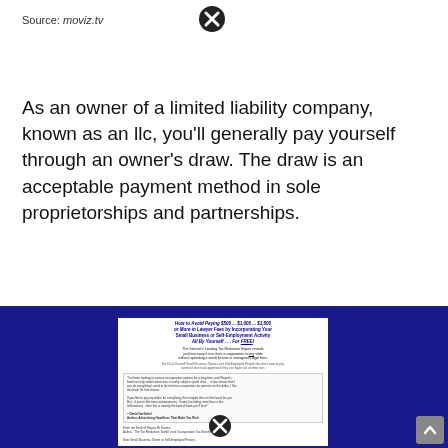Source: moviz.tv
As an owner of a limited liability company, known as an llc, you'll generally pay yourself through an owner's draw. The draw is an acceptable payment method in sole proprietorships and partnerships.
[Figure (screenshot): Screenshot of a webpage with dark blue background showing a document about 'How to Avoid Paying $500 ... $1,000 ... $1,500 or More in Lawyer Fees by Incorporating Your Small Business or Self-Employment Activity All By Yourself . . . For FREE!' with testimonial text and body copy. Two close/X buttons overlay the image.]